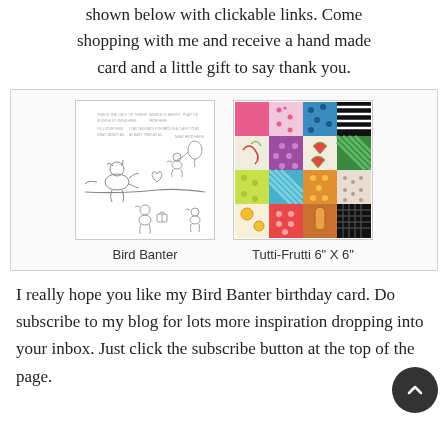shown below with clickable links. Come shopping with me and receive a hand made card and a little gift to say thank you.
[Figure (other): Product showcase box containing two product images: Bird Banter stamp set (line art of birds with party items) and Tutti-Frutti 6" X 6" paper pack (colorful grid of patterned papers)]
Bird Banter
Tutti-Frutti 6" X 6"
I really hope you like my Bird Banter birthday card. Do subscribe to my blog for lots more inspiration dropping into your inbox. Just click the subscribe button at the top of the page.